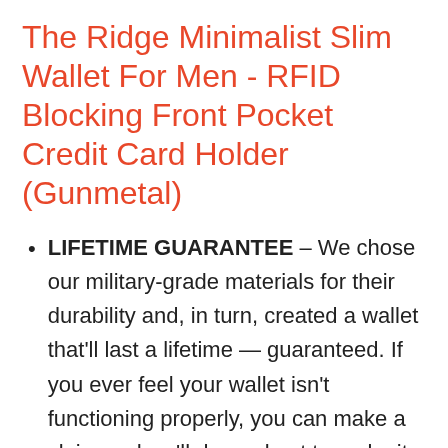The Ridge Minimalist Slim Wallet For Men - RFID Blocking Front Pocket Credit Card Holder (Gunmetal)
LIFETIME GUARANTEE – We chose our military-grade materials for their durability and, in turn, created a wallet that'll last a lifetime — guaranteed. If you ever feel your wallet isn't functioning properly, you can make a claim and we'll do our best to make it right. This includes